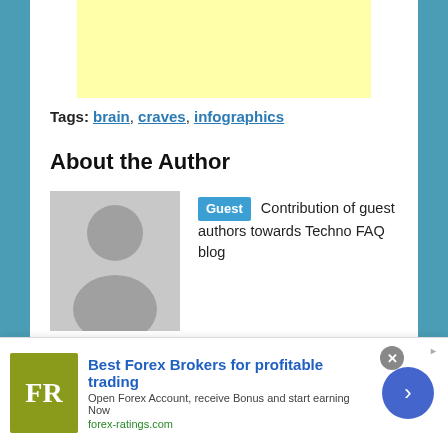[Figure (other): Yellow advertisement banner at top]
Tags: brain, craves, infographics
About the Author
[Figure (illustration): Default grey avatar/placeholder person icon]
Guest Contribution of guest authors towards Techno FAQ blog
Related Posts
[Figure (photo): Colorful microscopy/science image thumbnail]
[Figure (photo): YOU WANTED THAT PROMOTION? text on dark background thumbnail]
Best Forex Brokers for profitable trading Open Forex Account, receive Bonus and start earning Now forex-ratings.com